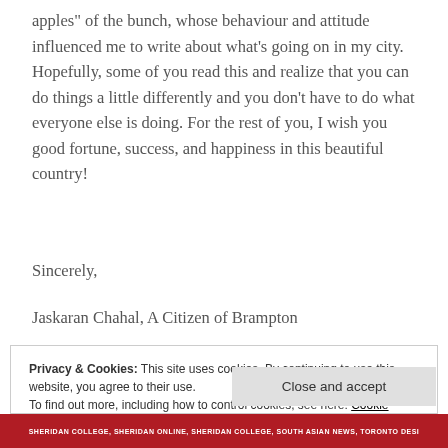apples" of the bunch, whose behaviour and attitude influenced me to write about what's going on in my city. Hopefully, some of you read this and realize that you can do things a little differently and you don't have to do what everyone else is doing. For the rest of you, I wish you good fortune, success, and happiness in this beautiful country!
Sincerely,
Jaskaran Chahal, A Citizen of Brampton
Privacy & Cookies: This site uses cookies. By continuing to use this website, you agree to their use. To find out more, including how to control cookies, see here: Cookie Policy
Close and accept
SHERIDAN COLLEGE, SHERIDAN ONLINE, SHERIDAN COLLEGE, SOUTH ASIAN NEWS, TORONTO DESI